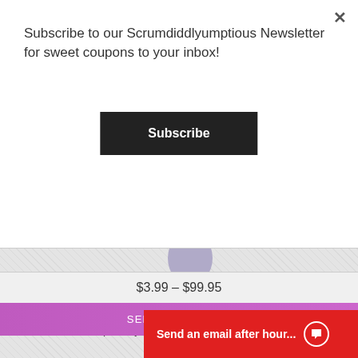Subscribe to our Scrumdiddlyumptious Newsletter for sweet coupons to your inbox!
Subscribe
[Figure (illustration): Partial balloon image visible at top of product card]
FISH BOWL SEE THRU LATEX BALLOONS
★★★★★ (star rating, approximately 4 out of 5)
Add a balloon bouquet to your order of Cupcakes or Treats to make a...
$3.99 – $99.95
SELECT OPTIONS
Send an email after hour...